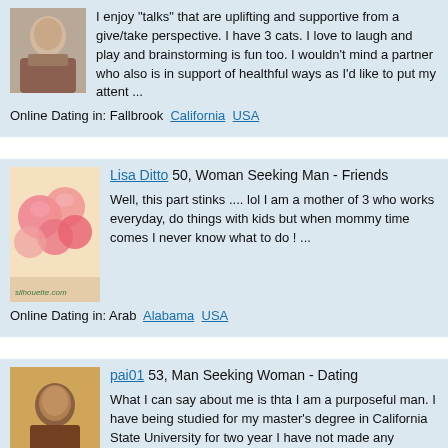I enjoy "talks" that are uplifting and supportive from a give/take perspective. I have 3 cats. I love to laugh and play and brainstorming is fun too. I wouldn't mind a partner who also is in support of healthful ways as I'd like to put my attent ...
Online Dating in: Fallbrook  California  USA
Lisa Ditto 50, Woman Seeking Man - Friends
Well, this part stinks .... lol I am a mother of 3 who works everyday, do things with kids but when mommy time comes I never know what to do ! ...
Online Dating in: Arab  Alabama  USA
pai01 53, Man Seeking Woman - Dating
What I can say about me is thta I am a purposeful man. I have being studied for my master's degree in California State University for two year I have not made any girlfriends.